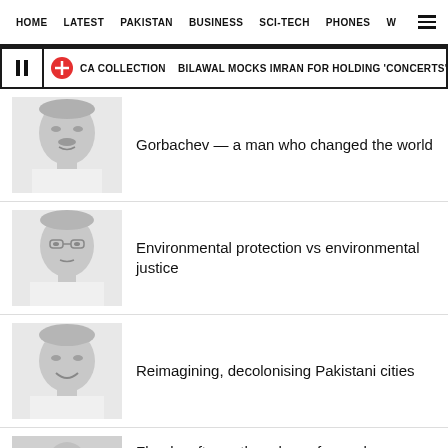HOME   LATEST   PAKISTAN   BUSINESS   SCI-TECH   PHONES   W
CA COLLECTION  BILAWAL MOCKS IMRAN FOR HOLDING 'CONCERTS' AMID FLOO
[Figure (photo): Grayscale headshot of a man in formal attire]
Gorbachev — a man who changed the world
[Figure (photo): Grayscale headshot of a man with glasses in formal attire]
Environmental protection vs environmental justice
[Figure (photo): Grayscale headshot of a smiling man in formal attire]
Reimagining, decolonising Pakistani cities
[Figure (photo): Grayscale partial headshot (cut off at bottom)]
Floods, aftermath and way forward